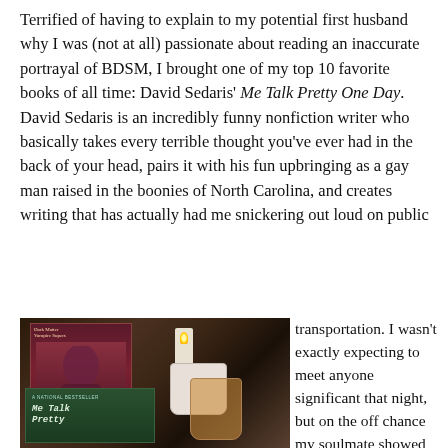Terrified of having to explain to my potential first husband why I was (not at all) passionate about reading an inaccurate portrayal of BDSM, I brought one of my top 10 favorite books of all time: David Sedaris' Me Talk Pretty One Day. David Sedaris is an incredibly funny nonfiction writer who basically takes every terrible thought you've ever had in the back of your head, pairs it with his fun upbringing as a gay man raised in the boonies of North Carolina, and creates writing that has actually had me snickering out loud on public transportation. I wasn't exactly expecting to meet anyone significant that night, but on the off chance my soulmate showed up to this random bookstore speed-
[Figure (photo): Photo of two books on a dark surface with a candle and drinks. One book has a dark red romance novel cover, and a green book titled 'Me Talk Pretty' (Me Talk Pretty One Day by David Sedaris) is visible in the foreground.]